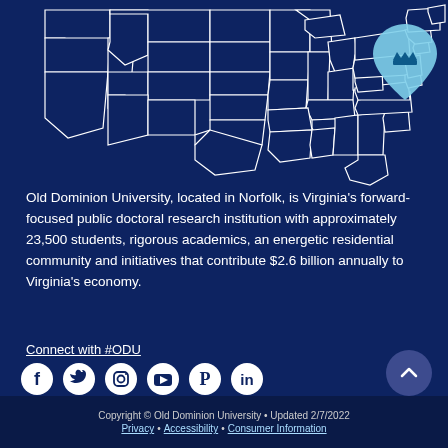[Figure (map): Map of the United States with all states outlined in white on dark navy blue background, with a light blue teardrop/location pin marker over the Virginia/Norfolk area containing a crown icon]
Old Dominion University, located in Norfolk, is Virginia's forward-focused public doctoral research institution with approximately 23,500 students, rigorous academics, an energetic residential community and initiatives that contribute $2.6 billion annually to Virginia's economy.
Connect with #ODU
[Figure (infographic): Social media icons row: Facebook, Twitter, Instagram, YouTube, Pinterest, LinkedIn — all white on dark navy background]
Copyright © Old Dominion University • Updated 2/7/2022
Privacy • Accessibility • Consumer Information